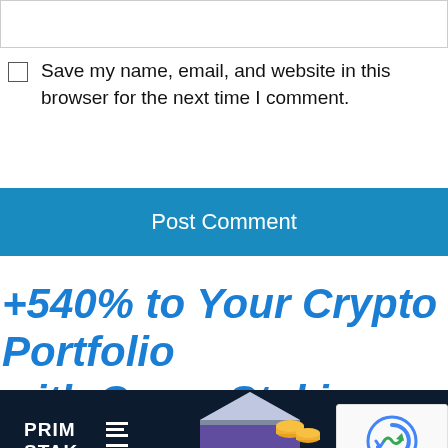[input box]
Save my name, email, and website in this browser for the next time I comment.
Post Comment
+540% to Your Crypto Portfolio with Cross Staking
[Figure (logo): PRIMSTAKE logo on dark navy background with decorative horizontal lines, partial crypto illustration with coins and geometric shapes, and reCAPTCHA widget in bottom right corner]